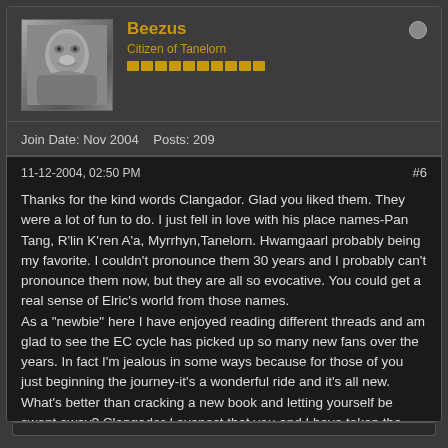Beezus
Citizen of Tanelorn
Join Date: Nov 2004   Posts: 209
11-12-2004, 02:50 PM
#6
Thanks for the kind words Clangador. Glad you liked them. They were a lot of fun to do. I just fell in love with his place names-Pan Tang, R'lin K'ren A'a, Myrrhyn,Tanelorn. Hwamgaarl probably being my favorite. I couldn't pronounce them 30 years and I probably can't pronounce them now, but they are all so evocative. You could get a real sense of Elric's world from those names.
As a "newbie" here I have enjoyed reading different threads and am glad to see the EC cycle has picked up so many new fans over the years. In fact I'm jealous in some ways because for those of you just beginning the journey-it's a wonderful ride and it's all new. What's better than cracking a new book and letting yourself be swept away? Clangador-I suspect that you and I have taken the path thru the cycle more than once and still find something fresh and new with each rereading. It's always good to visit old friends.